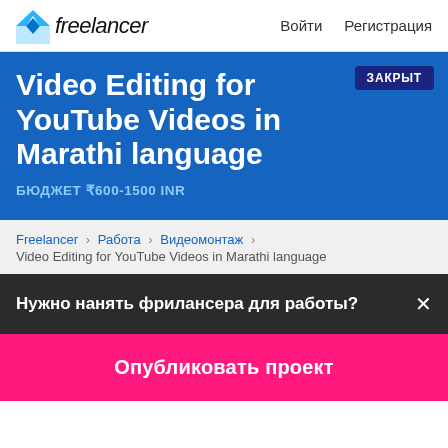Freelancer  Войти  Регистрация
Video Editing for YouTube Videos in Marathi language
БЮДЖЕТ ₹600-1500 INR
ЗАКРЫТ
Freelancer › Работа › Видеомонтаж › Video Editing for YouTube Videos in Marathi language
Нужно нанять фрилансера для работы?✕
Опубликовать проект